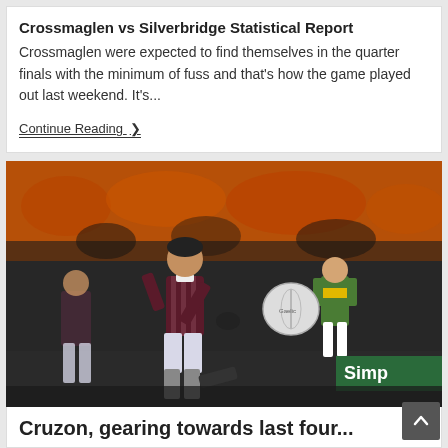Crossmaglen vs Silverbridge Statistical Report
Crossmaglen were expected to find themselves in the quarter finals with the minimum of fuss and that's how the game played out last weekend. It's...
Continue Reading ▶
[Figure (photo): A Gaelic football player in a dark maroon kit kicking a football, with another player in a yellow and green kit in the background, taken at an indoor/floodlit stadium with orange seating.]
Cruzon, gearing towards last four...